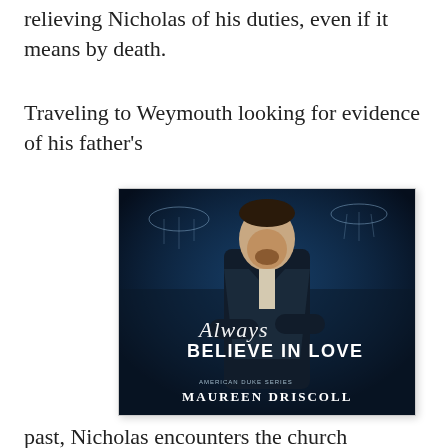relieving Nicholas of his duties, even if it means by death.
Traveling to Weymouth looking for evidence of his father's
[Figure (photo): Book cover of 'Always Believe in Love' by Maureen Driscoll, featuring a man in a dark suit against a blue atmospheric background with chandeliers]
past, Nicholas encounters the church archivist.
Kate Winston pens the records of the church under the new vicar who has planned to marry her out of his necessity.  She wants nothing to do with him.  The